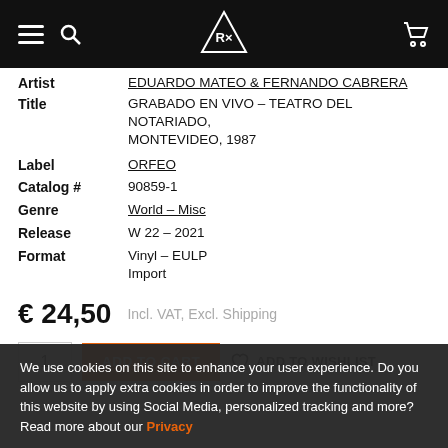Navigation bar with hamburger menu, search icon, logo, and cart icon
| Field | Value |
| --- | --- |
| Artist | EDUARDO MATEO & FERNANDO CABRERA |
| Title | GRABADO EN VIVO - TEATRO DEL NOTARIADO, MONTEVIDEO, 1987 |
| Label | ORFEO |
| Catalog # | 90859-1 |
| Genre | World - Misc |
| Release | W 22 - 2021 |
| Format | Vinyl - EULP
Import |
€ 24,50   Incl. VAT, Excl. Shipping
1  ADD TO CART  ♡ ADD TO WISHLIST
We use cookies on this site to enhance your user experience. Do you allow us to apply extra cookies in order to improve the functionality of this website by using Social Media, personalized tracking and more? Read more about our Privacy